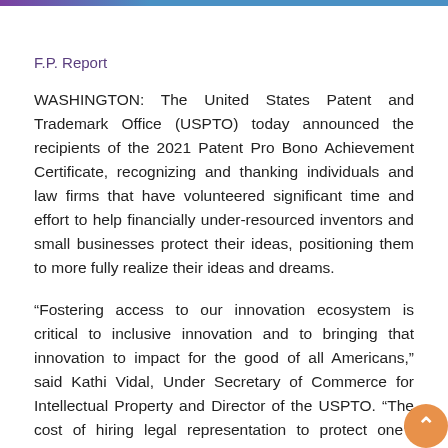F.P. Report
WASHINGTON: The United States Patent and Trademark Office (USPTO) today announced the recipients of the 2021 Patent Pro Bono Achievement Certificate, recognizing and thanking individuals and law firms that have volunteered significant time and effort to help financially under-resourced inventors and small businesses protect their ideas, positioning them to more fully realize their ideas and dreams.
“Fostering access to our innovation ecosystem is critical to inclusive innovation and to bringing that innovation to impact for the good of all Americans,” said Kathi Vidal, Under Secretary of Commerce for Intellectual Property and Director of the USPTO. “The cost of hiring legal representation to protect one’s intellectual property should not be a barrier to access. I am incredibly grateful to all the recipients for their commitment and great work. Through